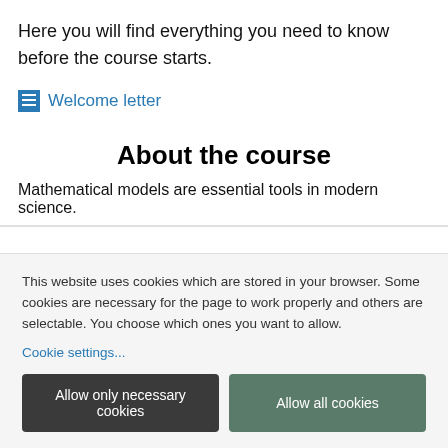Here you will find everything you need to know before the course starts.
Welcome letter
About the course
Mathematical models are essential tools in modern science.
This website uses cookies which are stored in your browser. Some cookies are necessary for the page to work properly and others are selectable. You choose which ones you want to allow.
Cookie settings...
Allow only necessary cookies
Allow all cookies